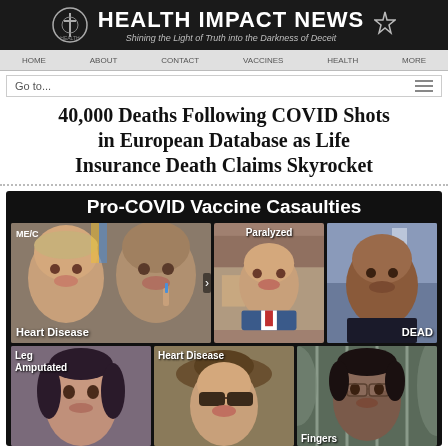HEALTH IMPACT NEWS — Shining the Light of Truth into the Darkness of Deceit
40,000 Deaths Following COVID Shots in European Database as Life Insurance Death Claims Skyrocket
[Figure (infographic): Pro-COVID Vaccine Casualties infographic showing 6 people with labels: Heart Disease, Paralyzed, DEAD, Leg Amputated, Heart Disease, Fingers]
Pro-COVID Vaccine Casaulties